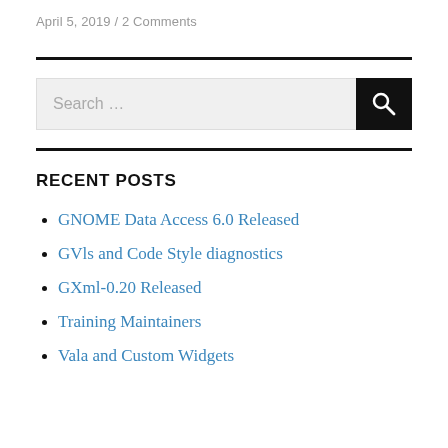April 5, 2019 / 2 Comments
RECENT POSTS
GNOME Data Access 6.0 Released
GVls and Code Style diagnostics
GXml-0.20 Released
Training Maintainers
Vala and Custom Widgets